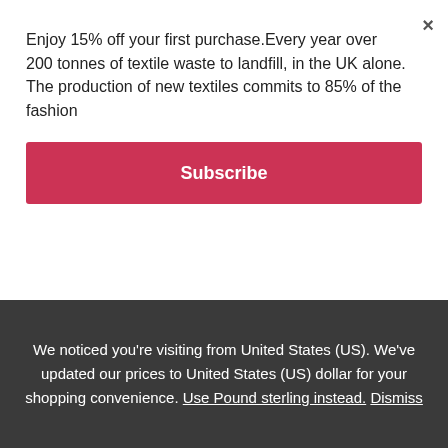Enjoy 15% off your first purchase.Every year over 200 tonnes of textile waste to landfill, in the UK alone. The production of new textiles commits to 85% of the fashion
Subscribe
jersey was leftover from my graduate collection. Hence, The irregularity of this wool caused an intricate panelling story and hence... the circular fashion brand commitment began.
After making one and getting so much interest I decided to make another. The best thing about these jumpers was they
We noticed you're visiting from United States (US). We've updated our prices to United States (US) dollar for your shopping convenience. Use Pound sterling instead. Dismiss